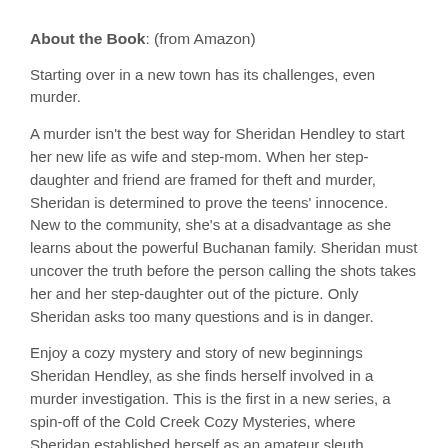About the Book: (from Amazon)
Starting over in a new town has its challenges, even murder.
A murder isn't the best way for Sheridan Hendley to start her new life as wife and step-mom. When her step-daughter and friend are framed for theft and murder, Sheridan is determined to prove the teens' innocence. New to the community, she's at a disadvantage as she learns about the powerful Buchanan family. Sheridan must uncover the truth before the person calling the shots takes her and her step-daughter out of the picture. Only Sheridan asks too many questions and is in danger.
Enjoy a cozy mystery and story of new beginnings Sheridan Hendley, as she finds herself involved in a murder investigation. This is the first in a new series, a spin-off of the Cold Creek Cozy Mysteries, where Sheridan established herself as an amateur sleuth, precipitated by her marriage and move to a new place.